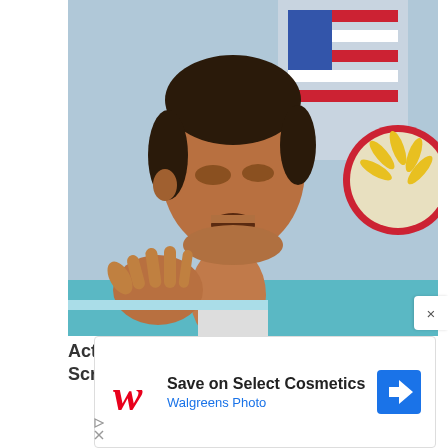[Figure (photo): A man speaking at a podium or press conference, gesturing with his right hand. American flag and ASEAN emblem visible in the background.]
Actual Presidents Appeared On The Screens Selling Us Something
Brainberries
[Figure (screenshot): Walgreens advertisement: Save on Select Cosmetics - Walgreens Photo, with Walgreens cursive W logo and a blue navigation arrow icon. Ad controls (play/close) visible at bottom left.]